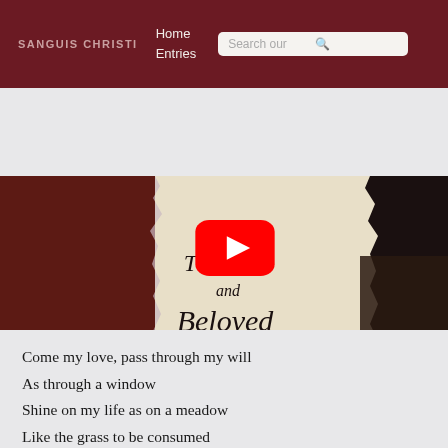SANGUIS CHRISTI  Home  Entries  Search our
[Figure (screenshot): YouTube video thumbnail showing a book cover with calligraphy text 'The Love and Beloved' with a play button overlay and 'Watch on YouTube' bar at the bottom]
Come my love, pass through my will
As through a window
Shine on my life as on a meadow
Like the grass to be consumed
By the rays of the sun
On a late summer's morning